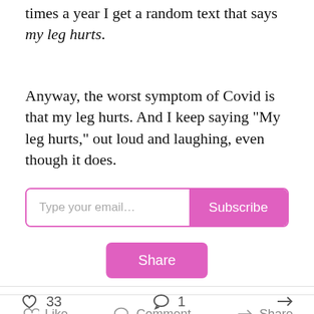times a year I get a random text that says my leg hurts.
Anyway, the worst symptom of Covid is that my leg hurts. And I keep saying "My leg hurts," out loud and laughing, even though it does.
[Figure (screenshot): Email subscription input box with placeholder 'Type your email...' and a pink Subscribe button]
[Figure (screenshot): Pink Share button]
[Figure (screenshot): Action bar with Like, Comment, and Share options in grey]
[Figure (screenshot): Counts bar showing 33 likes, 1 comment, and a share icon]